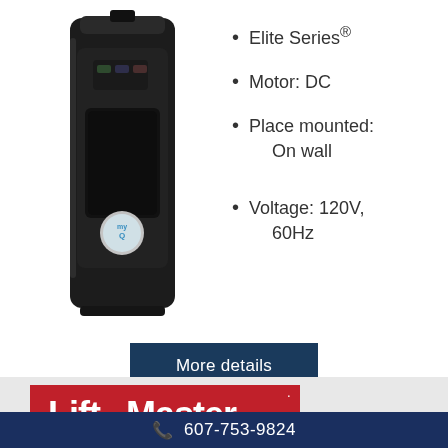[Figure (photo): LiftMaster wall-mounted garage door opener, black, with myQ logo button on front]
Elite Series®
Motor: DC
Place mounted: On wall
Voltage: 120V, 60Hz
[Figure (logo): More details button — dark navy rectangle with white text 'More details']
[Figure (logo): LiftMaster logo on light grey background — red rectangle with white bold text 'LiftMaster']
607-753-9824